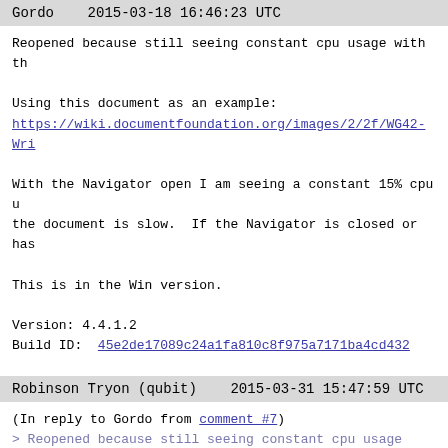Gordo   2015-03-18 16:46:23 UTC
Reopened because still seeing constant cpu usage with th

Using this document as an example:
https://wiki.documentfoundation.org/images/2/2f/WG42-Wri

With the Navigator open I am seeing a constant 15% cpu u the document is slow.  If the Navigator is closed or has

This is in the Win version.

Version: 4.4.1.2
Build ID: 45e2de17089c24a1fa810c8f975a7171ba4cd432
Robinson Tryon (qubit)   2015-03-31 15:47:59 UTC
(In reply to Gordo from comment #7)
> Reopened because still seeing constant cpu usage with
>

Hi Gordo,
Sounds like this bug does not meet the criteria for Stat
https://wiki.documentfoundation.org/QA/Bugzilla/Fields/S
Status back to -> VERIFIED FIXED

Please file a new bug regarding your Navigator problems,